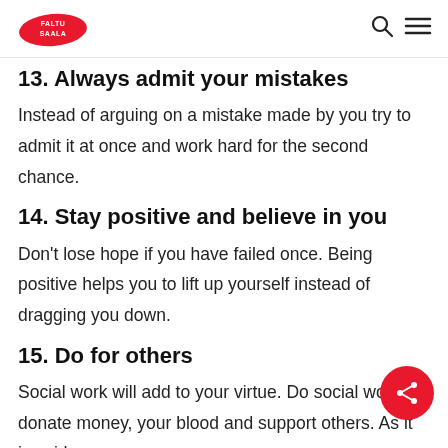Faltu Saala [logo] [search icon] [menu icon]
13. Always admit your mistakes
Instead of arguing on a mistake made by you try to admit it at once and work hard for the second chance.
14. Stay positive and believe in you
Don't lose hope if you have failed once. Being positive helps you to lift up yourself instead of dragging you down.
15. Do for others
Social work will add to your virtue. Do social work, donate money, your blood and support others. As it is said, no one ever